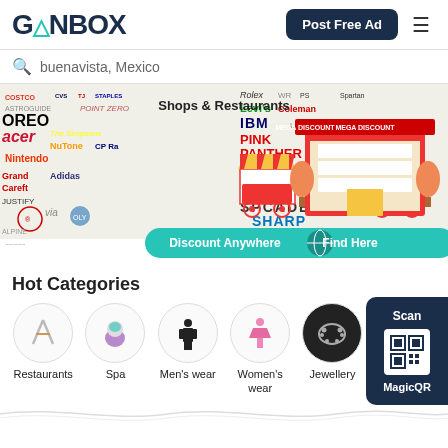[Figure (logo): GONBOX logo with teal location pin replacing the O]
Post Free Ad
buenavista, Mexico
[Figure (illustration): Shops & Restaurants banner with mega discount store, street food carts, brand logos background, and 'Discount Anywhere Find Here' teal banner]
Hot Categories
[Figure (illustration): QR code overlay panel with 'Scan' text and 'MagicQR' label]
Restaurants
Spa
Men's wear
Women's wear
Jewellery
Health wellne